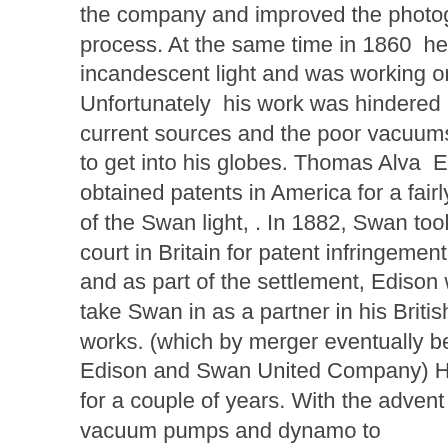the company and improved the photography printing process. At the same time in 1860  he developed an incandescent light and was working on improving it. Unfortunately  his work was hindered by irregular current sources and the poor vacuums he was able to get into his globes. Thomas Alva  Edison also obtained patents in America for a fairly direct copy of the Swan light, . In 1882, Swan took Edison to court in Britain for patent infringement. Edison lost and as part of the settlement, Edison was forced to take Swan in as a partner in his British electric works. (which by merger eventually became the Edison and Swan United Company) He lay dormant for a couple of years. With the advent of better vacuum pumps and dynamo to